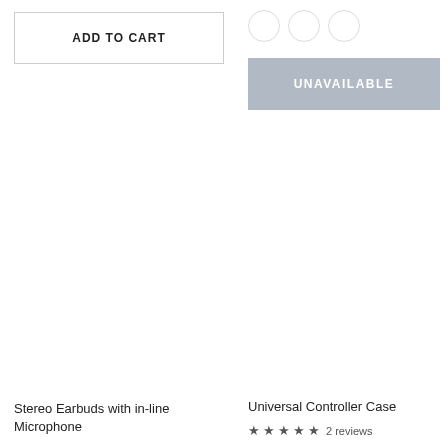[Figure (other): ADD TO CART button with border]
[Figure (other): Three white color selector circles]
[Figure (other): UNAVAILABLE grey button]
Stereo Earbuds with in-line Microphone
Universal Controller Case
★★★★★ 2 reviews